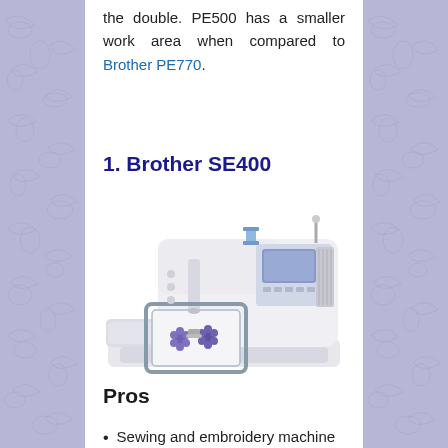the double. PE500 has a smaller work area when compared to Brother PE770.
1. Brother SE400
[Figure (photo): Photo of Brother SE400 sewing and embroidery machine, white colored, with embroidery hoop attached showing blue flower pattern, and digital display on right side.]
Pros
Sewing and embroidery machine